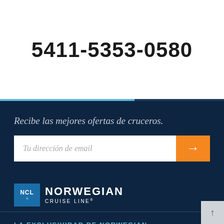5411-5353-0580
Recibe las mejores ofertas de cruceros.
Tu dirección de email
[Figure (logo): Norwegian Cruise Line (NCL) logo with blue badge and white text]
LA EXCLUSIVIDAD DE NORWEGIAN
BÁSICOS PARA EL CRUCERO